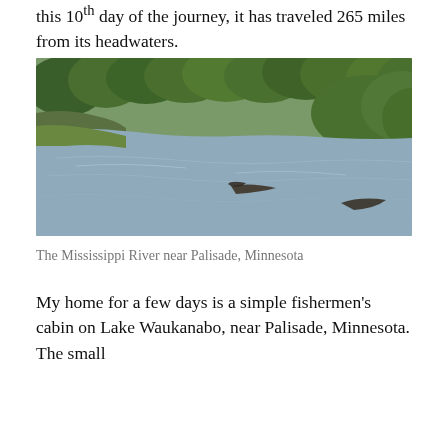this 10th day of the journey, it has traveled 265 miles from its headwaters.
[Figure (photo): Photograph of the Mississippi River near Palisade, Minnesota. A wide, calm river with grey-brown water flows between tree-lined banks. Fallen logs and branches are visible in the water. Dense green trees and vegetation line both banks.]
The Mississippi River near Palisade, Minnesota
My home for a few days is a simple fishermen's cabin on Lake Waukanabo, near Palisade, Minnesota. The small